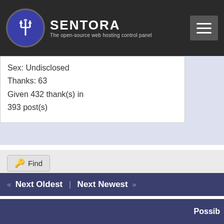SENTORA - The open-source web hosting control panel
Sex: Undisclosed
Thanks: 63
Given 432 thank(s) in 393 post(s)
Find
« Next Oldest | Next Newest »
Possib
Thread
How to setup ftp to access only certain folders?
ROOT FTP ACCESS Ubuntu 14.03 Server